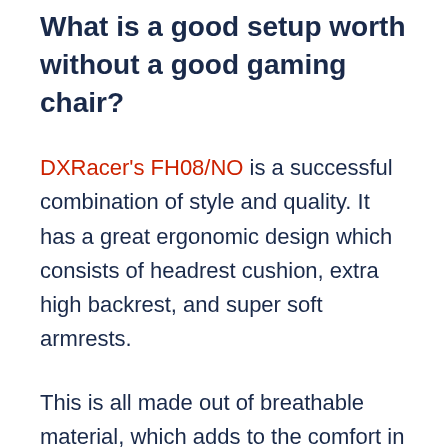What is a good setup worth without a good gaming chair?
DXRacer's FH08/NO is a successful combination of style and quality. It has a great ergonomic design which consists of headrest cushion, extra high backrest, and super soft armrests.
This is all made out of breathable material, which adds to the comfort in those warm summer days. The chair's base is made out of very durable aluminum, and it contains a standard tilt mechanism and footrest